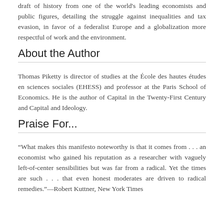draft of history from one of the world's leading economists and public figures, detailing the struggle against inequalities and tax evasion, in favor of a federalist Europe and a globalization more respectful of work and the environment.
About the Author
Thomas Piketty is director of studies at the École des hautes études en sciences sociales (EHESS) and professor at the Paris School of Economics. He is the author of Capital in the Twenty-First Century and Capital and Ideology.
Praise For...
“What makes this manifesto noteworthy is that it comes from . . . an economist who gained his reputation as a researcher with vaguely left-of-center sensibilities but was far from a radical. Yet the times are such . . . that even honest moderates are driven to radical remedies.”—Robert Kuttner, New York Times